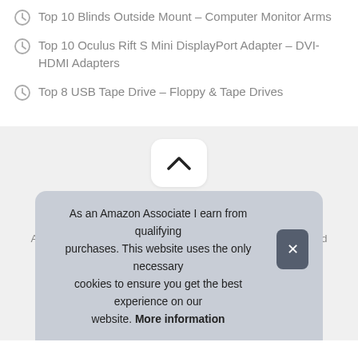Top 10 Blinds Outside Mount – Computer Monitor Arms
Top 10 Oculus Rift S Mini DisplayPort Adapter – DVI-HDMI Adapters
Top 8 USB Tape Drive – Floppy & Tape Drives
Xodseb © 2022. All Rights Reserved. Xodseb.com is a participant in the Amazon Services LLC Associates Program, an affiliate advertising program designed
As an Amazon Associate I earn from qualifying purchases. This website uses the only necessary cookies to ensure you get the best experience on our website. More information